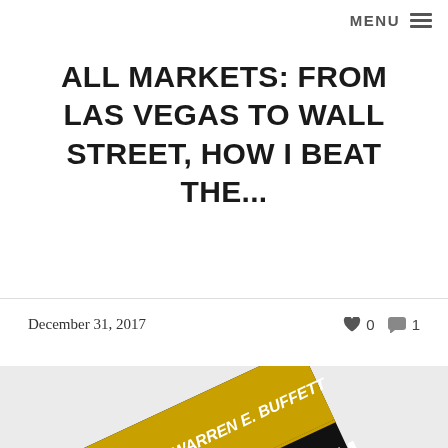MENU
ALL MARKETS: FROM LAS VEGAS TO WALL STREET, HOW I BEAT THE...
December 31, 2017  ♥ 0  💬 1
[Figure (photo): Book cover of 'Security Analysis' by Benjamin Graham and David L. Dodd, with foreword by Warren E. Buffett. Black cover with gold/yellow banner at top. Partially visible, tilted at an angle.]